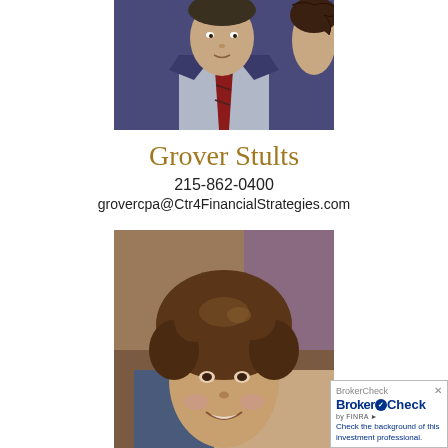[Figure (photo): Headshot photo of a man in a dark suit with a red striped tie, facing forward, with a woman with curly hair partially visible to the right]
Grover Stults
215-862-0400
grovercpa@Ctr4FinancialStrategies.com
[Figure (photo): Photo of a woman with curly dark hair, smiling, outdoors]
[Figure (other): BrokerCheck by FINRA widget — Check the background of this investment professional.]